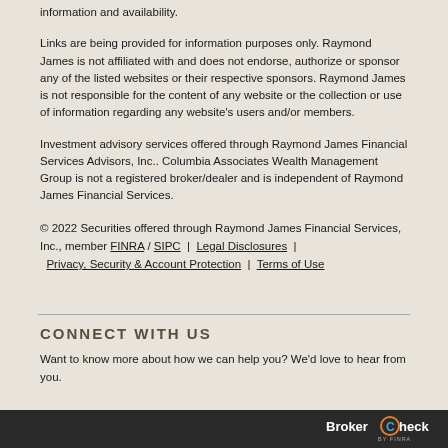information and availability.
Links are being provided for information purposes only. Raymond James is not affiliated with and does not endorse, authorize or sponsor any of the listed websites or their respective sponsors. Raymond James is not responsible for the content of any website or the collection or use of information regarding any website's users and/or members.
Investment advisory services offered through Raymond James Financial Services Advisors, Inc.. Columbia Associates Wealth Management Group is not a registered broker/dealer and is independent of Raymond James Financial Services.
© 2022 Securities offered through Raymond James Financial Services, Inc., member FINRA / SIPC | Legal Disclosures | Privacy, Security & Account Protection | Terms of Use
CONNECT WITH US
Want to know more about how we can help you? We'd love to hear from you.
[Figure (logo): BrokerCheck by FINRA logo in footer bar]